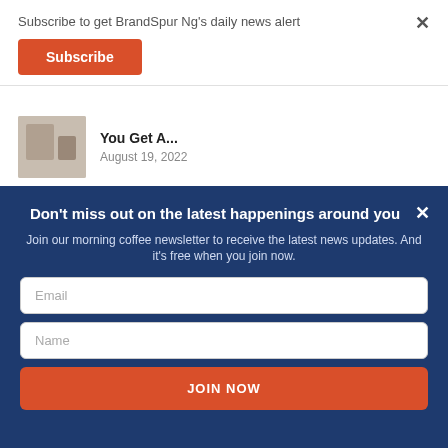Subscribe to get BrandSpur Ng's daily news alert
Subscribe
You Get A...
August 19, 2022
Don't miss out on the latest happenings around you
Join our morning coffee newsletter to receive the latest news updates. And it's free when you join now.
Email
Name
JOIN NOW